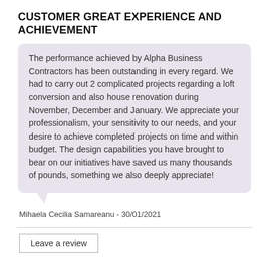CUSTOMER GREAT EXPERIENCE AND ACHIEVEMENT
The performance achieved by Alpha Business Contractors has been outstanding in every regard. We had to carry out 2 complicated projects regarding a loft conversion and also house renovation during November, December and January. We appreciate your professionalism, your sensitivity to our needs, and your desire to achieve completed projects on time and within budget. The design capabilities you have brought to bear on our initiatives have saved us many thousands of pounds, something we also deeply appreciate!
Mihaela Cecilia Samareanu - 30/01/2021
Leave a review